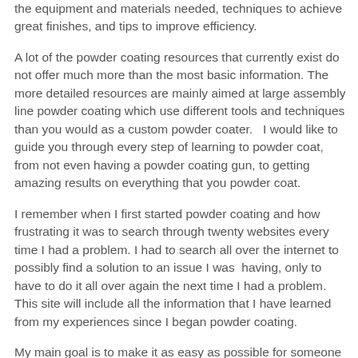the equipment and materials needed, techniques to achieve great finishes, and tips to improve efficiency.
A lot of the powder coating resources that currently exist do not offer much more than the most basic information. The more detailed resources are mainly aimed at large assembly line powder coating which use different tools and techniques than you would as a custom powder coater.   I would like to guide you through every step of learning to powder coat, from not even having a powder coating gun, to getting amazing results on everything that you powder coat.
I remember when I first started powder coating and how frustrating it was to search through twenty websites every time I had a problem. I had to search all over the internet to possibly find a solution to an issue I was  having, only to have to do it all over again the next time I had a problem. This site will include all the information that I have learned from my experiences since I began powder coating.
My main goal is to make it as easy as possible for someone to learn this hobby at home. I welcome any questions or